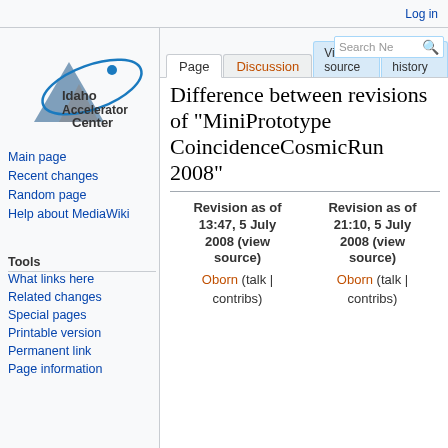Log in
[Figure (logo): Idaho Accelerator Center logo with mountain and orbit graphic]
Main page
Recent changes
Random page
Help about MediaWiki
Tools
What links here
Related changes
Special pages
Printable version
Permanent link
Page information
Difference between revisions of "MiniPrototype CoincidenceCosmicRun 2008"
| Revision as of 13:47, 5 July 2008 (view source) | Revision as of 21:10, 5 July 2008 (view source) |
| --- | --- |
| Oborn (talk | contribs) | Oborn (talk | contribs) |